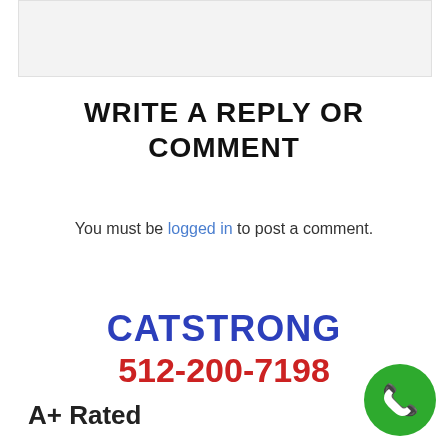[Figure (screenshot): Gray box representing a cropped UI element at the top of the page]
WRITE A REPLY OR COMMENT
You must be logged in to post a comment.
CATSTRONG 512-200-7198
A+ Rated
[Figure (illustration): Green circular phone call button with white handset icon]